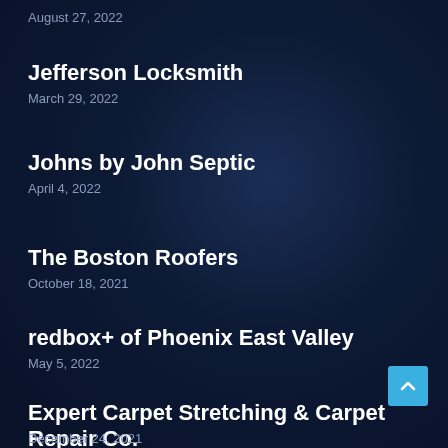August 27, 2022
Jefferson Locksmith
March 29, 2022
Johns by John Septic
April 4, 2022
The Boston Roofers
October 18, 2021
redbox+ of Phoenix East Valley
May 5, 2022
Expert Carpet Stretching & Carpet Repair Co.
December 24, 2021